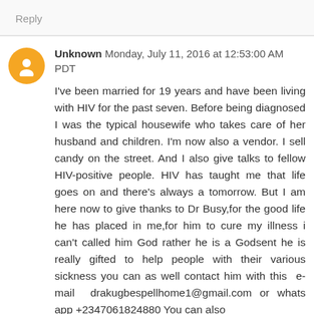Reply
Unknown Monday, July 11, 2016 at 12:53:00 AM PDT
I've been married for 19 years and have been living with HIV for the past seven. Before being diagnosed I was the typical housewife who takes care of her husband and children. I'm now also a vendor. I sell candy on the street. And I also give talks to fellow HIV-positive people. HIV has taught me that life goes on and there's always a tomorrow. But I am here now to give thanks to Dr Busy,for the good life he has placed in me,for him to cure my illness i can't called him God rather he is a Godsent he is really gifted to help people with their various sickness you can as well contact him with this e-mail drakugbespellhome1@gmail.com or whats app +2347061824880 You can also